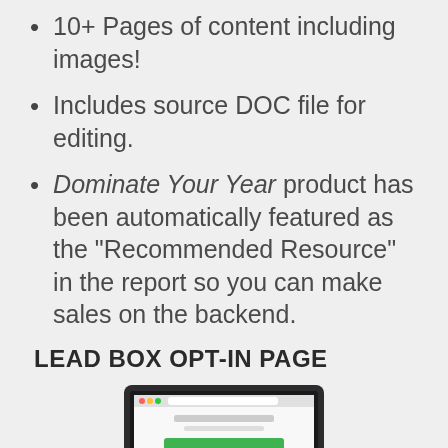10+ Pages of content including images!
Includes source DOC file for editing.
Dominate Your Year product has been automatically featured as the "Recommended Resource" in the report so you can make sales on the backend.
LEAD BOX OPT-IN PAGE
[Figure (screenshot): Partial screenshot of a laptop displaying a Lead Box opt-in page with a green bar/button visible on screen.]